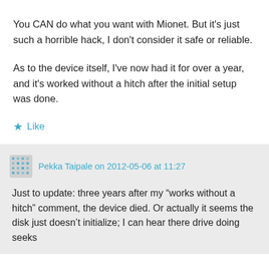You CAN do what you want with Mionet. But it's just such a horrible hack, I don't consider it safe or reliable.
As to the device itself, I've now had it for over a year, and it's worked without a hitch after the initial setup was done.
★ Like
Pekka Taipale on 2012-05-06 at 11:27
Just to update: three years after my "works without a hitch" comment, the device died. Or actually it seems the disk just doesn't initialize; I can hear there drive doing seeks